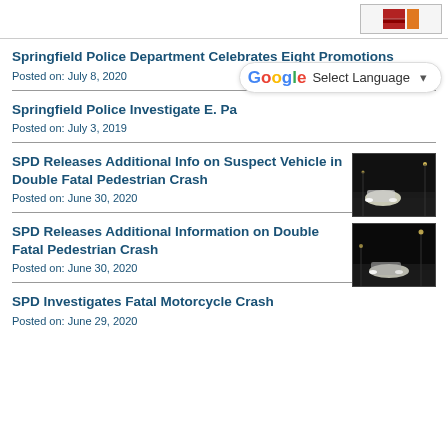[Figure (screenshot): Top bar with logo/flag icon at top right]
Springfield Police Department Celebrates Eight Promotions
Posted on: July 8, 2020
Springfield Police Investigate E. Pa...
Posted on: July 3, 2019
[Figure (other): Google Translate Select Language widget]
SPD Releases Additional Info on Suspect Vehicle in Double Fatal Pedestrian Crash
Posted on: June 30, 2020
[Figure (photo): Night-time surveillance photo of a vehicle on a road]
SPD Releases Additional Information on Double Fatal Pedestrian Crash
Posted on: June 30, 2020
[Figure (photo): Night-time surveillance photo of a vehicle on a road (grayscale)]
SPD Investigates Fatal Motorcycle Crash
Posted on: June 29, 2020